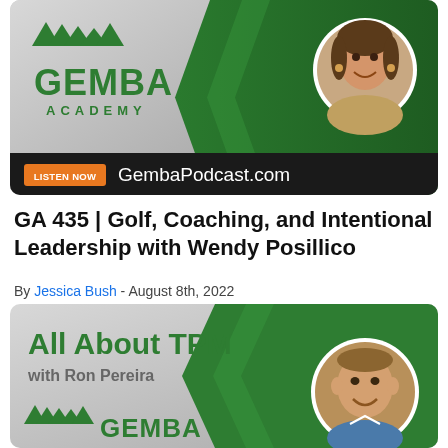[Figure (illustration): Gemba Academy podcast card with logo, woman's portrait circle, green chevron design, dark bottom bar with orange LISTEN NOW button and GembaPodcast.com URL]
GA 435 | Golf, Coaching, and Intentional Leadership with Wendy Posillico
By Jessica Bush - August 8th, 2022
[Figure (illustration): Gemba Academy podcast card with 'All About TPM with Ron Pereira' text, green chevron design, man's portrait circle, and Gemba logo at bottom]